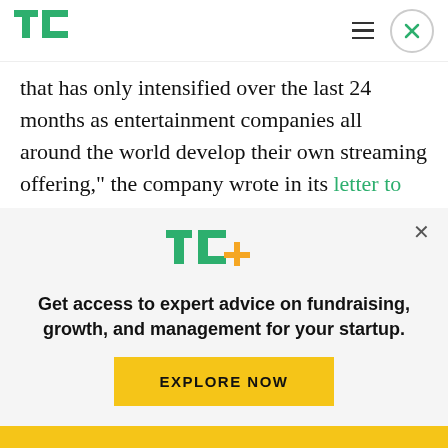TechCrunch logo, hamburger menu, close button
that has only intensified over the last 24 months as entertainment companies all around the world develop their own streaming offering,” the company wrote in its letter to shareholders, admitting that “competition may be affecting [its] marginal growth some.”
While Netflix has about 222 million total
[Figure (logo): TechCrunch TC+ logo in green with orange plus sign]
Get access to expert advice on fundraising, growth, and management for your startup.
EXPLORE NOW